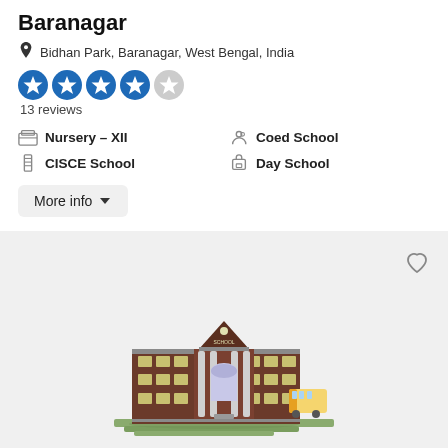Baranagar
Bidhan Park, Baranagar, West Bengal, India
[Figure (other): 4 filled blue star rating icons and 1 empty/grey star icon]
13 reviews
Nursery - XII
CISCE School
Coed School
Day School
More info
[Figure (illustration): Illustration of a school building with columns, triangular pediment labeled SCHOOL, arched window, brick facade, school bus parked to the right, green lawn area at the bottom, on a grey background with a heart/like button in top right.]